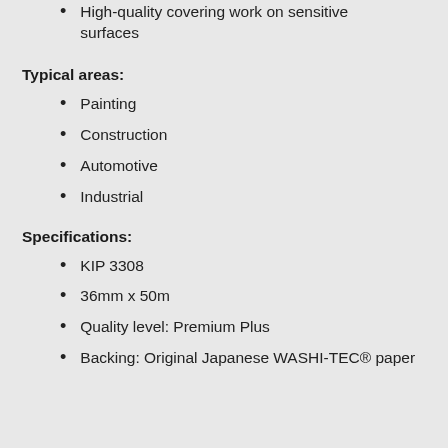High-quality covering work on sensitive surfaces
Typical areas:
Painting
Construction
Automotive
Industrial
Specifications:
KIP 3308
36mm x 50m
Quality level: Premium Plus
Backing: Original Japanese WASHI-TEC® paper